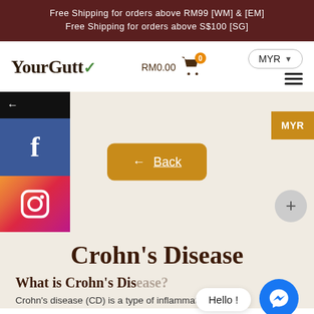Free Shipping for orders above RM99 [WM] & [EM]
Free Shipping for orders above S$100 [SG]
[Figure (screenshot): YourGutt e-commerce website navigation bar with logo, cart showing RM0.00 with 0 items, MYR currency selector, and hamburger menu]
[Figure (screenshot): Social media sidebar with back arrow, Facebook and Instagram icons. Back button in center. MYR button and plus button on right side.]
Crohn's Disease
What is Crohn's Disease?
Crohn's disease (CD) is a type of inflammation in